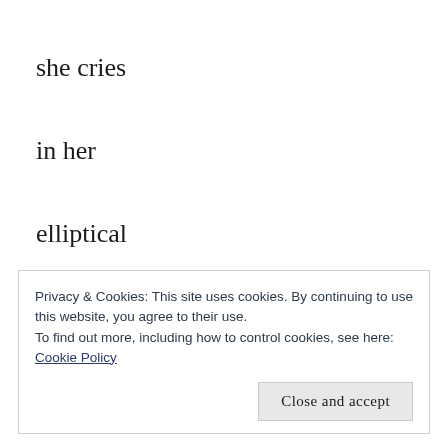she cries
in her
elliptical
orbit
Privacy & Cookies: This site uses cookies. By continuing to use this website, you agree to their use.
To find out more, including how to control cookies, see here:
Cookie Policy
Close and accept